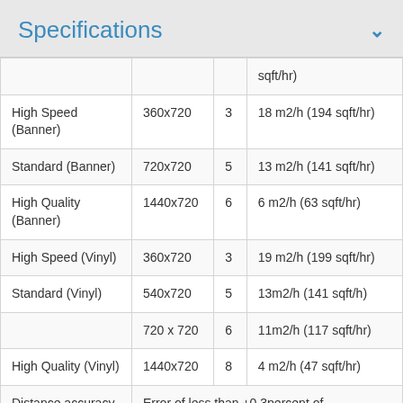Specifications
|  |  |  |  |
| --- | --- | --- | --- |
|  |  |  | sqft/hr) |
| High Speed (Banner) | 360x720 | 3 | 18 m2/h (194 sqft/hr) |
| Standard (Banner) | 720x720 | 5 | 13 m2/h (141 sqft/hr) |
| High Quality (Banner) | 1440x720 | 6 | 6 m2/h (63 sqft/hr) |
| High Speed (Vinyl) | 360x720 | 3 | 19 m2/h (199 sqft/hr) |
| Standard (Vinyl) | 540x720 | 5 | 13m2/h (141 sqft/h) |
|  | 720 x 720 | 6 | 11m2/h (117 sqft/hr) |
| High Quality (Vinyl) | 1440x720 | 8 | 4 m2/h (47 sqft/hr) |
| Distance accuracy | Error of less than +0.3percent of |  |  |